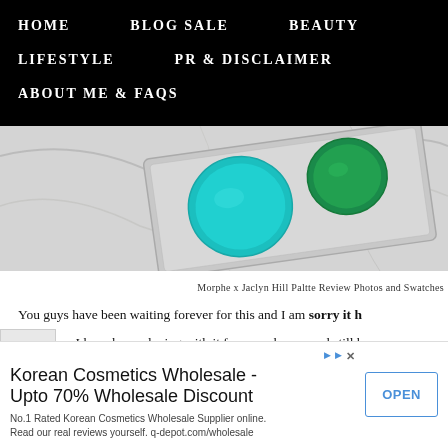HOME   BLOG SALE   BEAUTY   LIFESTYLE   PR & DISCLAIMER   ABOUT ME & FAQs
[Figure (photo): Close-up photo of an eyeshadow palette with teal/turquoise and green circular pans on a marble surface]
Morphe x Jaclyn Hill Paltte Review Photos and Swatches
You guys have been waiting forever for this and I am sorry it h
w. I have been playing with it for a week now and still haven
[Figure (infographic): Advertisement banner: Korean Cosmetics Wholesale - Upto 70% Wholesale Discount. No.1 Rated Korean Cosmetics Wholesale Supplier online. Read our real reviews yourself. q-depot.com/wholesale. OPEN button.]